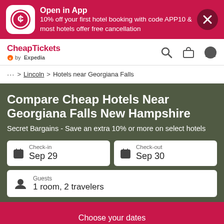[Figure (screenshot): CheapTickets app banner with logo, promo text, and close button]
CheapTickets by Expedia
... > Lincoln > Hotels near Georgiana Falls
Compare Cheap Hotels Near Georgiana Falls New Hampshire
Secret Bargains - Save an extra 10% or more on select hotels
Check-in Sep 29
Check-out Sep 30
Guests 1 room, 2 travelers
Choose your dates